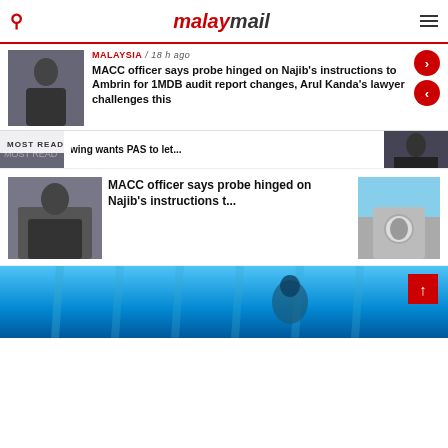malaymail
MALAYSIA / 18 h ago
MACC officer says probe hinged on Najib's instructions to Ambrin for 1MDB audit report changes, Arul Kanda's lawyer challenges this
wing wants PAS to let...
MOST READ
MACC officer says probe hinged on Najib's instructions t...
[Figure (photo): Man in dark suit and mask on stairs]
[Figure (photo): Building with logo sign]
[Figure (photo): Blue background scene with person]
[Figure (photo): Man in dark suit with mask]
[Figure (photo): People in dark background]